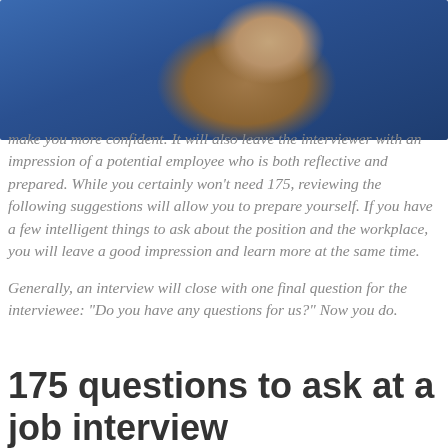[Figure (photo): A hand (fist) with a ring, wearing a blue sleeve, holding something — positioned in the upper right of the page]
ons to ask at a job interview will make you more confident. It will also leave the interviewer with an impression of a potential employee who is both reflective and prepared. While you certainly won't need 175, reviewing the following suggestions will allow you to prepare yourself. If you have a few intelligent things to ask about the position and the workplace, you will leave a good impression and learn more at the same time.

Generally, an interview will close with one final question for the interviewee: “Do you have any questions for us?” Now you do.
175 questions to ask at a job interview